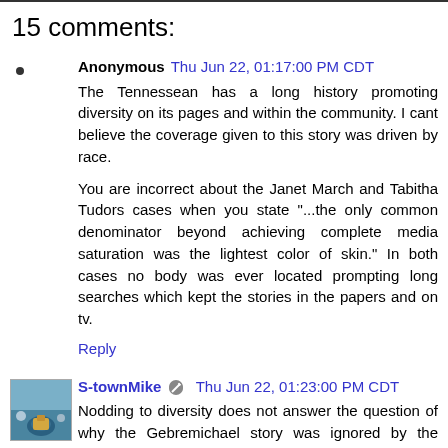15 comments:
Anonymous Thu Jun 22, 01:17:00 PM CDT
The Tennessean has a long history promoting diversity on its pages and within the community. I cant believe the coverage given to this story was driven by race.

You are incorrect about the Janet March and Tabitha Tudors cases when you state "...the only common denominator beyond achieving complete media saturation was the lightest color of skin." In both cases no body was ever located prompting long searches which kept the stories in the papers and on tv.

Reply
S-townMike Thu Jun 22, 01:23:00 PM CDT
Nodding to diversity does not answer the question of why the Gebremichael story was ignored by the Tennessean. If race were not the reason, then what else would be?